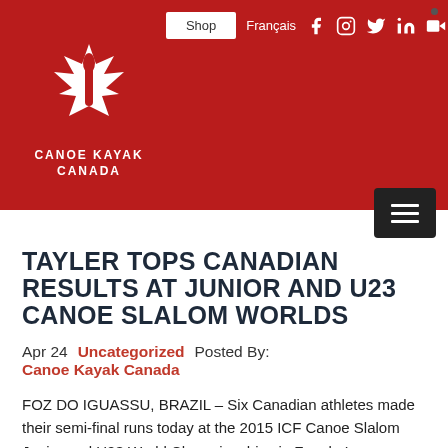Canoe Kayak Canada website header with navigation: Shop, Français, social media icons (Facebook, Instagram, Twitter, LinkedIn, YouTube), logo
TAYLER TOPS CANADIAN RESULTS AT JUNIOR AND U23 CANOE SLALOM WORLDS
Apr 24  Uncategorized  Posted By: Canoe Kayak Canada
FOZ DO IGUASSU, BRAZIL – Six Canadian athletes made their semi-final runs today at the 2015 ICF Canoe Slalom Junior and U23 World Championships in Foz do Iguassu, Brazil.
Ottawa's Michael Tayler posted the top result with a fourteenth